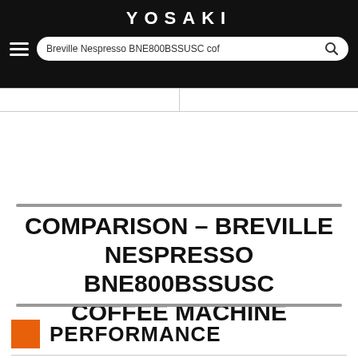YOSAKI
Breville Nespresso BNE800BSSUSC cof
COMPARISON – BREVILLE NESPRESSO BNE800BSSUSC COFFEE MACHINE
PERFORMANCE